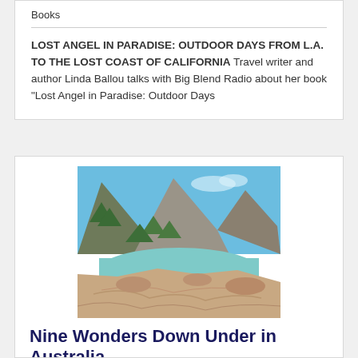Books
LOST ANGEL IN PARADISE: OUTDOOR DAYS FROM L.A. TO THE LOST COAST OF CALIFORNIA Travel writer and author Linda Ballou talks with Big Blend Radio about her book “Lost Angel in Paradise: Outdoor Days
[Figure (photo): Coastal landscape with rocky shore, turquoise water, and mountain with trees in background, likely Tasmania, Australia]
Nine Wonders Down Under in Australia
Australia & New Zealand